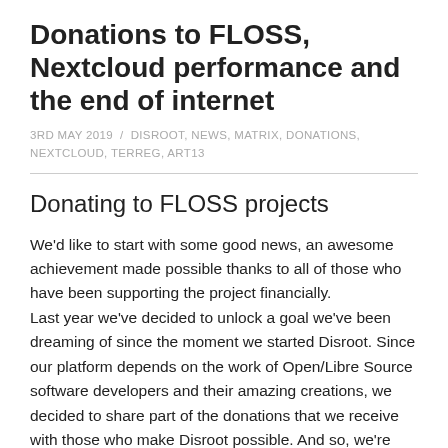Donations to FLOSS, Nextcloud performance and the end of internet
3RD MAY 2019 / DISROOT, NEWS, MATRIX, DONATIONS, NEXTCLOUD, TERREG, ART13
Donating to FLOSS projects
We'd like to start with some good news, an awesome achievement made possible thanks to all of those who have been supporting the project financially. Last year we've decided to unlock a goal we've been dreaming of since the moment we started Disroot. Since our platform depends on the work of Open/Libre Source software developers and their amazing creations, we decided to share part of the donations that we receive with those who make Disroot possible. And so, we're very proud and happy, that we have just transferred 300 euros in donations to several projects.